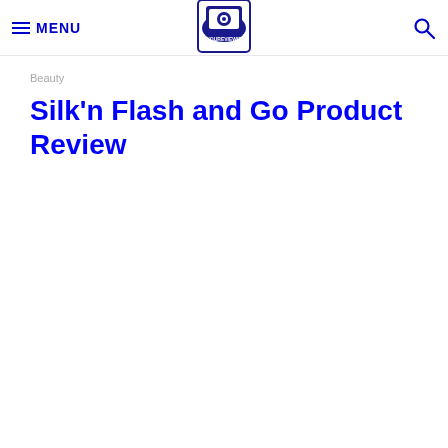MENU | YouReviewIt logo | Search
Beauty
Silk'n Flash and Go Product Review